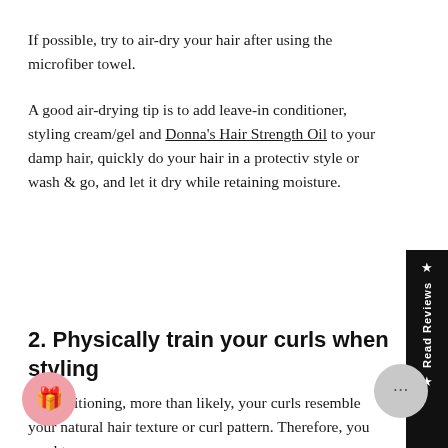If possible, try to air-dry your hair after using the microfiber towel.
A good air-drying tip is to add leave-in conditioner, styling cream/gel and Donna's Hair Strength Oil to your damp hair, quickly do your hair in a protective style or wash & go, and let it dry while retaining moisture.
2. Physically train your curls when styling
re transitioning, more than likely, your curls resemble your natural hair texture or curl pattern. Therefore, you need to...